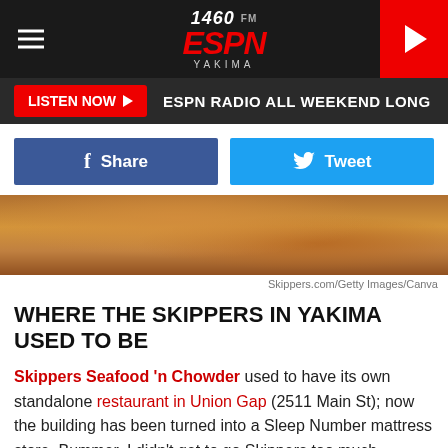1460 ESPN Yakima — LISTEN NOW ESPN RADIO ALL WEEKEND LONG
[Figure (screenshot): Share and Tweet social media buttons]
[Figure (photo): Close-up photo of fried fish and chips food item]
Skippers.com/Getty Images/Canva
WHERE THE SKIPPERS IN YAKIMA USED TO BE
Skippers Seafood 'n Chowder used to have its own standalone restaurant in Union Gap (2511 Main St); now the building has been turned into a Sleep Number mattress store. Bummer. I didn't get to go Skippers too much because I wasn't as into fish and chips back then.